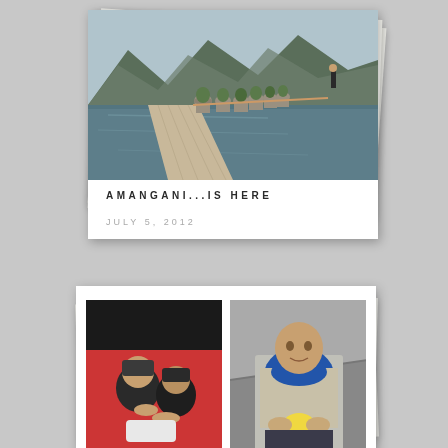[Figure (photo): Top polaroid-style card showing a pool with large planters along the edge, wooden walkway, mountains in background under cloudy sky. Card has stacked pages behind it.]
AMANGANI...IS HERE
JULY 5, 2012
[Figure (photo): Bottom polaroid-style card showing two side-by-side photos: left photo shows two people lying in a red hammock/boat wearing dark clothing; right photo shows a person in a blue top holding a yellow fruit on stairs.]